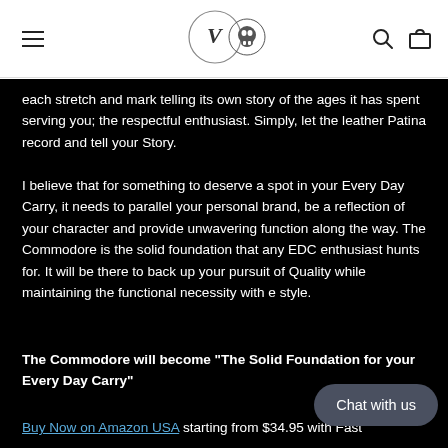[Navigation header with menu icon, logo, search and cart icons]
each stretch and mark telling its own story of the ages it has spent serving you; the respectful enthusiast. Simply, let the leather Patina record and tell your Story.
I believe that for something to deserve a spot in your Every Day Carry, it needs to parallel your personal brand, be a reflection of your character and provide unwavering function along the way. The Commodore is the solid foundation that any EDC enthusiast hunts for. It will be there to back up your pursuit of Quality while maintaining the functional necessity with e style.
The Commodore will become "The Solid Foundation for your Every Day Carry"
Buy Now on Amazon USA starting from $34.95 with Fast